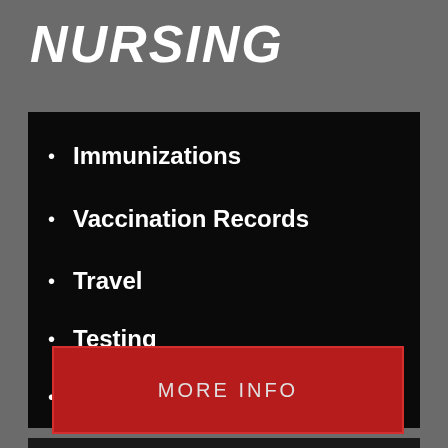NURSING
Immunizations
Vaccination Records
Travel
Testing
Head Lice / Bed Bugs
MORE INFO